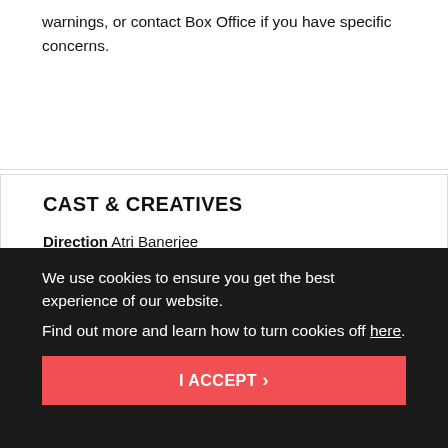warnings, or contact Box Office if you have specific concerns.
CAST & CREATIVES
Direction Atri Banerjee
By Annie Zaidi
Composer & Musician Arun Ghosh
Lighting Designer Fraser Craig
Casting Director Nadine Rennie
We use cookies to ensure you get the best experience of our website.
Find out more and learn how to turn cookies off here.
I ACCEPT